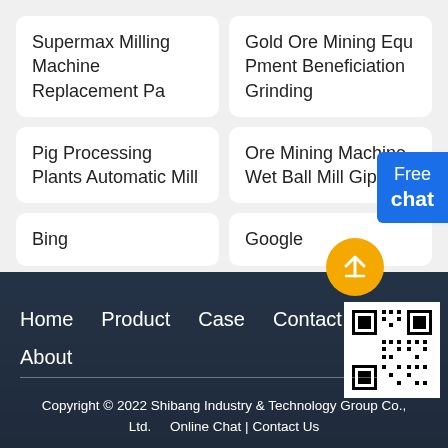Supermax Milling Machine Replacement Pa
Gold Ore Mining Equ Pment Beneficiation Grinding
Pig Processing Plants Automatic Mill
Ore Mining Machine Wet Ball Mill Gipes
Bing
Google
Home   Product   Case   Contact   About
Copyright © 2022 Shibang Industry & Technology Group Co., Ltd.   Online Chat | Contact Us